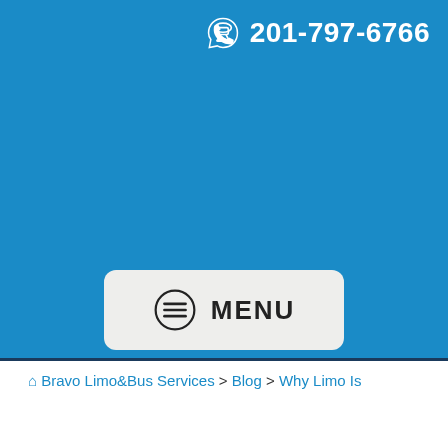201-797-6766
[Figure (other): Blue header background with phone icon and number 201-797-6766 in white, and a menu button with hamburger icon and MENU text on a light grey rounded rectangle]
MENU
⌂ Bravo Limo&Bus Services > Blog > Why Limo Is